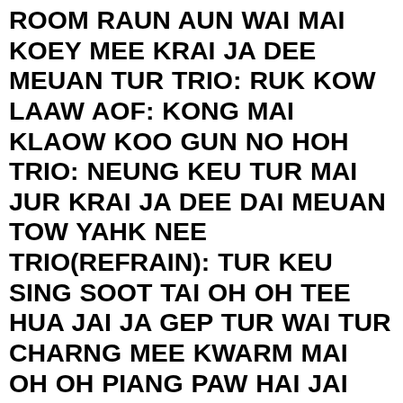ROOM RAUN AUN WAI MAI KOEY MEE KRAI JA DEE MEUAN TUR TRIO: RUK KOW LAAW AOF: KONG MAI KLAOW KOO GUN NO HOH TRIO: NEUNG KEU TUR MAI JUR KRAI JA DEE DAI MEUAN TOW YAHK NEE TRIO(REFRAIN): TUR KEU SING SOOT TAI OH OH TEE HUA JAI JA GEP TUR WAI TUR CHARNG MEE KWARM MAI OH OH PIANG PAW HAI JAI BEUK PAI WAH RUK TUR ICE: ROOM RAUN AUN WAI MAI KOEY MEE KRAI JA DEE MEUAN TUR TRIO: RUK KOW LAAW PECK: KONG MAI KLAOW KOO GUN NO OH TRIO: NEUNG KEU TUR MAI JUR KRAI JA DEE DAI MEUAN TOW YAHK NEE AOF: WUN LAE WAY LAH CHARNG MEE KAH CHUN JA RUK SAH HAI DEE TRIO: HOO HOO TRIO(REFRAIN): TUR KEU SING SOOT TAI